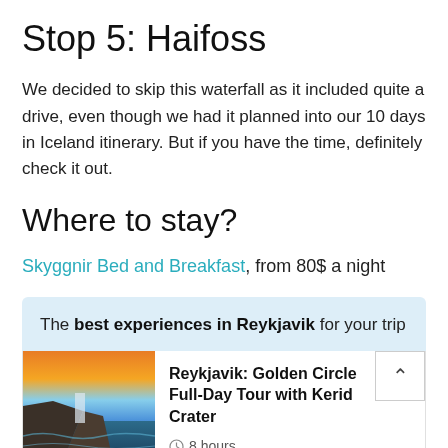Stop 5: Haifoss
We decided to skip this waterfall as it included quite a drive, even though we had it planned into our 10 days in Iceland itinerary. But if you have the time, definitely check it out.
Where to stay?
Skyggnir Bed and Breakfast, from 80$ a night
The best experiences in Reykjavik for your trip
[Figure (photo): Coastal waterfall landscape at sunset with orange sky]
Reykjavik: Golden Circle Full-Day Tour with Kerid Crater
8 hours